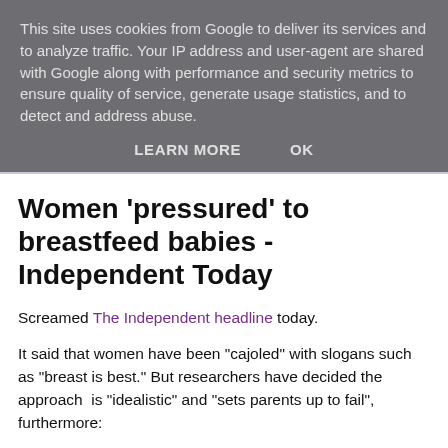This site uses cookies from Google to deliver its services and to analyze traffic. Your IP address and user-agent are shared with Google along with performance and security metrics to ensure quality of service, generate usage statistics, and to detect and address abuse.
LEARN MORE   OK
Women 'pressured' to breastfeed babies - Independent Today
Screamed The Independent headline today.
It said that women have been "cajoled" with slogans such as "breast is best." But researchers have decided the approach is "idealistic" and "sets parents up to fail", furthermore:
"That greater recognition of the multiple demands new parents face would reap greater dividends."